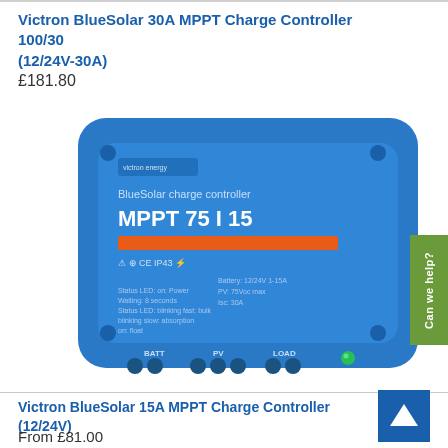Victron BlueSolar 30A MPPT Charge Controller 100/30 (12/24V-30A)
£181.80
[Figure (photo): Blue Victron BlueSolar MPPT 75|15 charge controller device, showing the front panel with orange stripe, CE IP43 markings, connection terminals labeled BATT, PV, LOAD, and a green LED indicator.]
Victron BlueSolar 15A MPPT Charge Controller (12/24V)
From £81.00